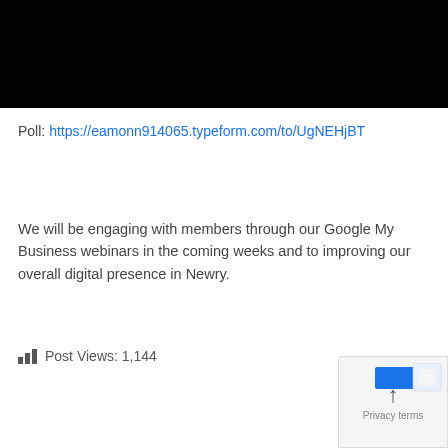[Figure (other): Black rectangle representing an embedded video or media placeholder]
Poll: https://eamonn914065.typeform.com/to/UgNEHjBT
We will be engaging with members through our Google My Business webinars in the coming weeks and to improving our overall digital presence in Newry.
Post Views: 1,144
[Figure (screenshot): Bottom-right corner widget showing an upward arrow and partial text 'Privacy terms']